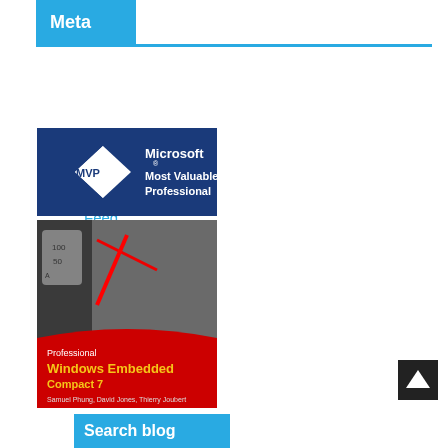Meta
Home
Rss Feed
[Figure (logo): Microsoft MVP - Most Valuable Professional badge with blue background and diamond logo]
[Figure (photo): Book cover: Professional Windows Embedded Compact 7 by Samuel Phung, David Jones, Thierry Joubert]
[Figure (other): Back to top arrow button, dark background with white up-arrow]
Search blog